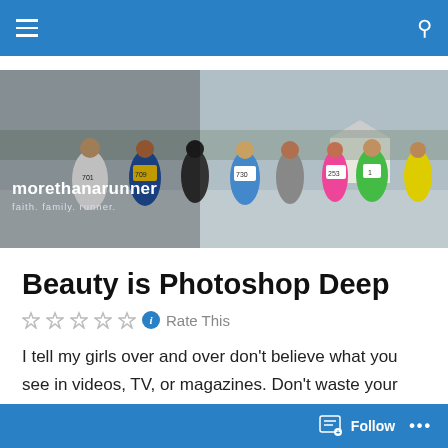morethanarunner — faith. family. runner.
[Figure (photo): A crowd of runners in a winter cross-country or road race, wearing race bibs. Numbers visible include 701, 709, 730, 253, 1, and others. Background shows snowy fields and a white building. Blog header overlay reads: morethanarunner / faith. family. runner.]
Beauty is Photoshop Deep
Rate This
I tell my girls over and over don't believe what you see in videos, TV, or magazines. Don't waste your energy trying to achieve the media's concept of beauty. The image of
Follow